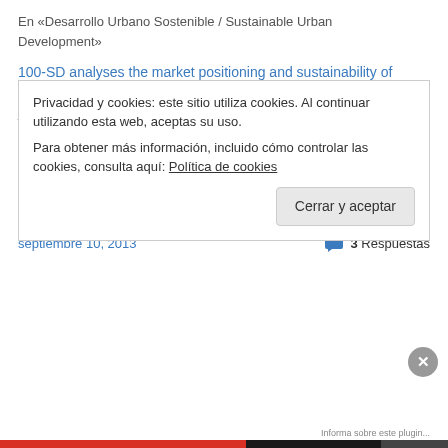En «Desarrollo Urbano Sostenible / Sustainable Urban Development»
100-SD analyses the market positioning and sustainability of Costa Rica as a tourist destination
julio 7, 2011
En «100SD Noticias / 100SD News»
Sustainable Tourism, A Balancing Act
noviembre 13, 2012
En «Turismo Sostenible / Sustainable Tourism»
septiembre 10, 2013
3 Respuestas
Privacidad y cookies: este sitio utiliza cookies. Al continuar utilizando esta web, aceptas su uso. Para obtener más información, incluido cómo controlar las cookies, consulta aquí: Política de cookies
Cerrar y aceptar